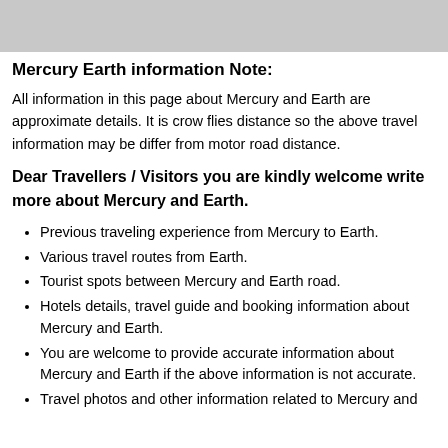[Figure (other): Gray banner/header bar at top of page]
Mercury Earth information Note:
All information in this page about Mercury and Earth are approximate details. It is crow flies distance so the above travel information may be differ from motor road distance.
Dear Travellers / Visitors you are kindly welcome write more about Mercury and Earth.
Previous traveling experience from Mercury to Earth.
Various travel routes from Earth.
Tourist spots between Mercury and Earth road.
Hotels details, travel guide and booking information about Mercury and Earth.
You are welcome to provide accurate information about Mercury and Earth if the above information is not accurate.
Travel photos and other information related to Mercury and